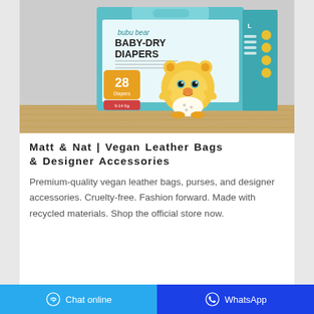[Figure (photo): Bubu Bear Baby-Dry Diapers product box with cartoon bear mascot, teal/cyan colored packaging, showing 28 diapers, size L, displayed on a wooden surface against a light fabric background.]
Matt & Nat | Vegan Leather Bags & Designer Accessories
Premium-quality vegan leather bags, purses, and designer accessories. Cruelty-free. Fashion forward. Made with recycled materials. Shop the official store now.
Chat online   WhatsApp